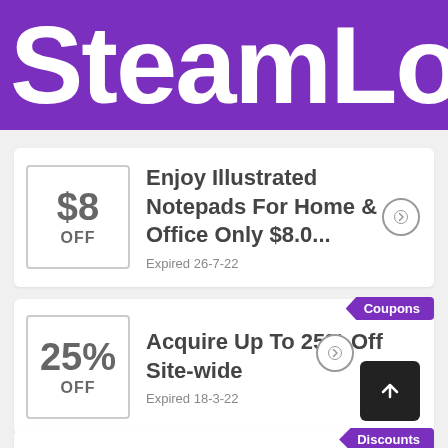SteamLo
$8 OFF
Enjoy Illustrated Notepads For Home & Office Only $8.0...
Expired 26-7-22
Coupons
25% OFF
Acquire Up To 25% Off Site-wide
Expired 18-3-22
Discounts